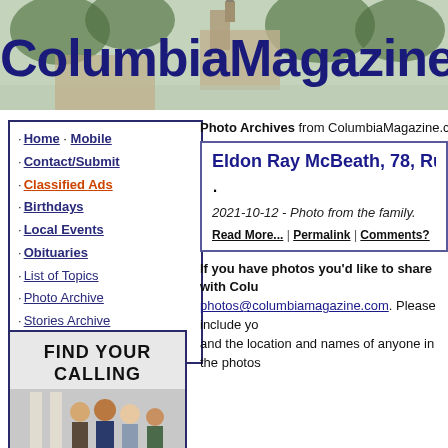[Figure (illustration): ColumbiaMagazine.com website header banner with town/church background image and large dark blue bold title text]
· Home · Mobile
· Contact/Submit
· Classified Ads
· Birthdays
· Local Events
· Obituaries
· List of Topics
· Photo Archive
· Stories Archive
· Search
[Figure (illustration): FIND YOUR CALLING advertisement with photo of smiling students]
Photo Archives from ColumbiaMagazine.com. Clic
Eldon Ray McBeath, 78, Russe
2021-10-12 - Photo from the family.
Read More... | Permalink | Comments?
If you have photos you'd like to share with Colu photos@columbiamagazine.com. Please include yo and the location and names of anyone in the photos